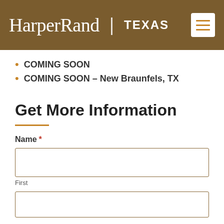HarperRand | TEXAS
COMING SOON
COMING SOON – New Braunfels, TX
Get More Information
Name *
First
(second input box)